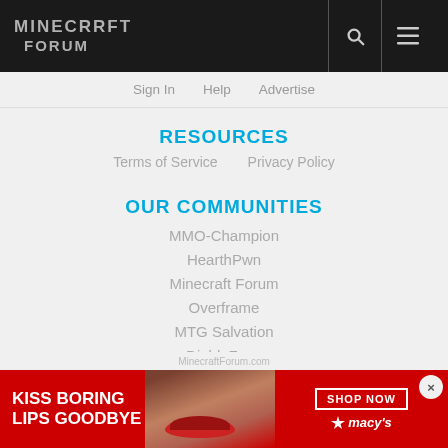Minecraft Forum
Sign In   Help   Advertise
RESOURCES
Terms of Service    Privacy Policy
OUR COMMUNITIES
MMO-Champion
HearthPwn
Minecraft Forum
Overframe
MTG Salvation
DiabloFans
MORE THE NETWORK
[Figure (infographic): Macy's advertisement banner: 'KISS BORING LIPS GOODBYE' with SHOP NOW button and macy's logo, woman's face visible]
MinecraftForum.com